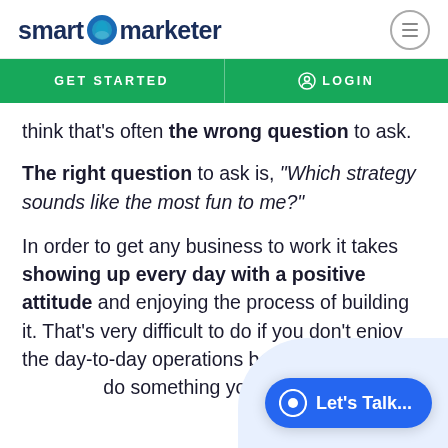smart marketer
GET STARTED   LOGIN
think that's often the wrong question to ask.
The right question to ask is, "Which strategy sounds like the most fun to me?"
In order to get any business to work it takes showing up every day with a positive attitude and enjoying the process of building it. That's very difficult to do if you don't enjoy the day-to-day operations because you're forced to do something you dislike.